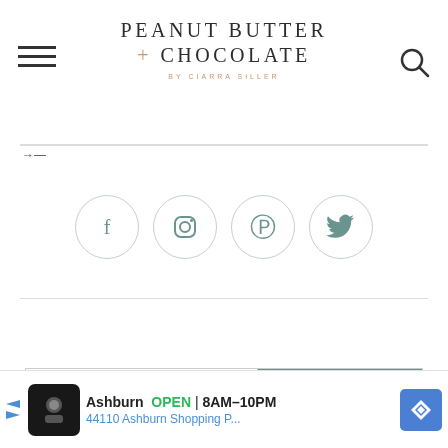PEANUT BUTTER + CHOCOLATE BY CIARRA SILLER
[Figure (infographic): Four social media icon circles: Facebook, Instagram, Pinterest, Twitter in teal/muted green color with rose-tinted circular borders]
Search
SEARCH
[Figure (infographic): Advertisement banner: Ashburn OPEN 8AM-10PM, 44110 Ashburn Shopping P...]